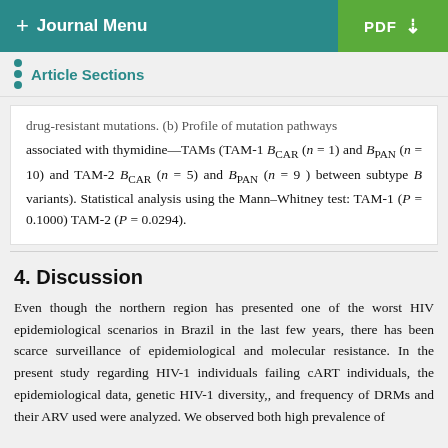+ Journal Menu  PDF ↓
Article Sections
drug-resistant mutations. (b) Profile of mutation pathways associated with thymidine—TAMs (TAM-1 B_CAR (n = 1) and B_PAN (n = 10) and TAM-2 B_CAR (n = 5) and B_PAN (n = 9) between subtype B variants). Statistical analysis using the Mann–Whitney test: TAM-1 (P = 0.1000) TAM-2 (P = 0.0294).
4. Discussion
Even though the northern region has presented one of the worst HIV epidemiological scenarios in Brazil in the last few years, there has been scarce surveillance of epidemiological and molecular resistance. In the present study regarding HIV-1 individuals failing cART individuals, the epidemiological data, genetic HIV-1 diversity,, and frequency of DRMs and their ARV used were analyzed. We observed both high prevalence of individuals with virological failure with DRMs and the